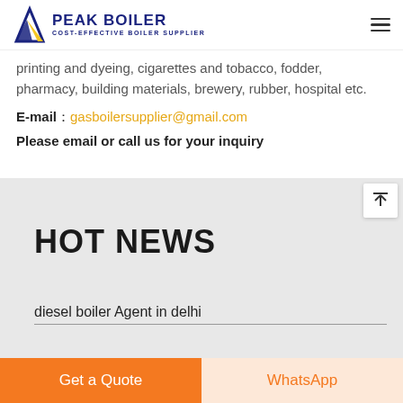PEAK BOILER - COST-EFFECTIVE BOILER SUPPLIER
printing and dyeing, cigarettes and tobacco, fodder, pharmacy, building materials, brewery, rubber, hospital etc.
E-mail：gasboilersupplier@gmail.com
Please email or call us for your inquiry
HOT NEWS
diesel boiler Agent in delhi